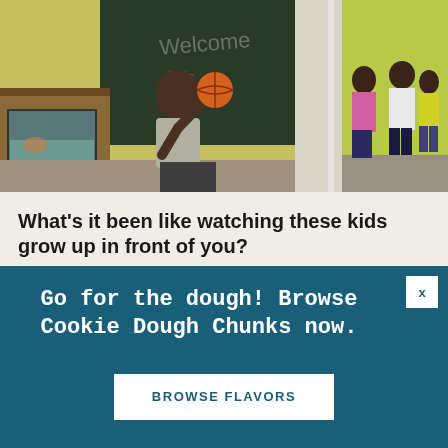[Figure (photo): Two-panel classroom photo. Left panel: a young Black boy spinning an orange basketball on his finger in front of a chalkboard that reads 'Welcome' in a yellow-walled classroom with an aquarium visible. Right panel: several children standing in a yellow-green walled room.]
What's it been like watching these kids grow up in front of you?
The most amazing thing for me is that I started this place at
[Figure (infographic): Dark teal advertisement banner with white text reading 'Go for the dough! Browse Cookie Dough Chunks now.' and a white button labeled 'BROWSE FLAVORS'. An X close button is in the top right corner.]